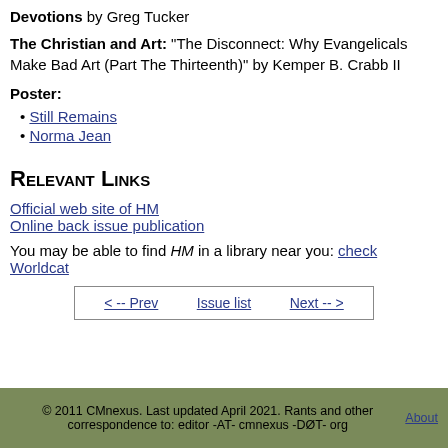Devotions by Greg Tucker
The Christian and Art: "The Disconnect: Why Evangelicals Make Bad Art (Part The Thirteenth)" by Kemper B. Crabb II
Poster:
Still Remains
Norma Jean
Relevant Links
Official web site of HM
Online back issue publication
You may be able to find HM in a library near you: check Worldcat
< -- Prev   Issue list   Next -- >
© 2011 CMnexus. Last updated April 2021. Rants and other correspondence to: editor -AT- cmnexus -DØT- org About